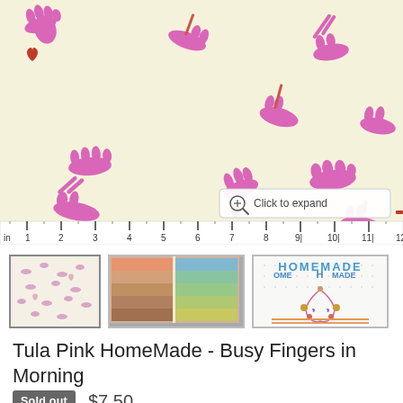[Figure (photo): Fabric swatch showing a cream/off-white background with pink/magenta hand silhouette motifs (hands holding scissors, hands making heart shapes) and small red hearts scattered throughout. A ruler along the bottom shows measurements in inches (in, 1, 2, 3, 4, 5, 6, 7, 8, 9l, 10l, 11l, 12). A 'Click to expand' magnifier button is shown in the lower right of the image.]
[Figure (photo): Three product thumbnail images: 1) Close-up of the fabric pattern on white/light background with small pink hand/heart motifs. 2) Photo of colorful folded fabrics on store shelves (orange, blue, green, yellow stacks). 3) 'Homemade' shop logo with floral wreath design on dotted background.]
Tula Pink HomeMade - Busy Fingers in Morning
Sold out  $7.50
Quantity